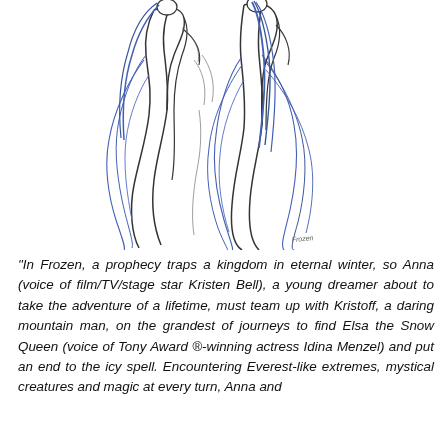[Figure (illustration): A sketch/illustration in blue and black ink lines depicting two figures in elaborate flowing robes or cloaks, drawn in a loose gestural style. The figures appear to be characters from Frozen — Anna and Elsa — rendered as costume design sketches.]
“In Frozen, a prophecy traps a kingdom in eternal winter, so Anna (voice of film/TV/stage star Kristen Bell), a young dreamer about to take the adventure of a lifetime, must team up with Kristoff, a daring mountain man, on the grandest of journeys to find Elsa the Snow Queen (voice of Tony Award ®-winning actress Idina Menzel) and put an end to the icy spell. Encountering Everest-like extremes, mystical creatures and magic at every turn, Anna and